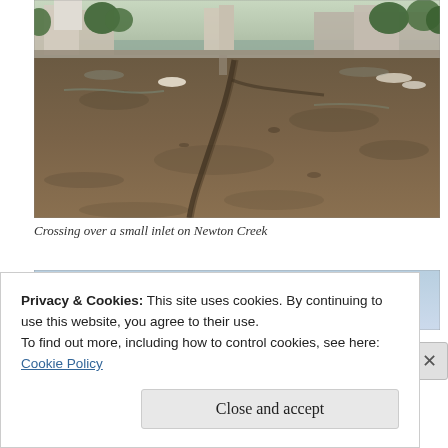[Figure (photo): Aerial or ground-level photograph of a tidal mudflat (Newton Creek at low tide) showing a narrow concrete or stone pathway crossing over exposed dark mud. Houses, trees, and walls visible in the background along the shoreline. A few small boats are visible on the mud.]
Crossing over a small inlet on Newton Creek
[Figure (photo): Partial view of a second photograph showing a light blue sky, partially obscured by a cookie consent overlay banner.]
Privacy & Cookies: This site uses cookies. By continuing to use this website, you agree to their use.
To find out more, including how to control cookies, see here:
Cookie Policy